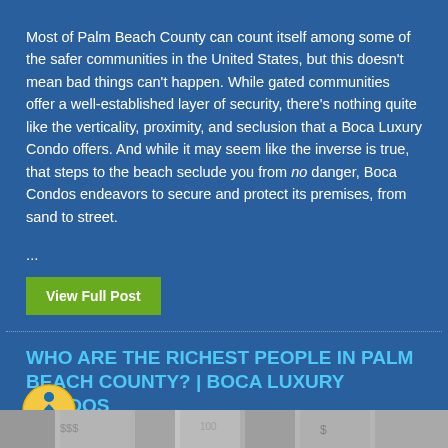Most of Palm Beach County can count itself among some of the safer communities in the United States, but this doesn't mean bad things can't happen. While gated communities offer a well-established layer of security, there's nothing quite like the verticality, proximity, and seclusion that a Boca Luxury Condo offers. And while it may seem like the inverse is true, that steps to the beach seclude you from no danger, Boca Condos endeavors to secure and protect its premises, from sand to street.
...
View Full Post
WHO ARE THE RICHEST PEOPLE IN PALM BEACH COUNTY? | BOCA LUXURY CONDOS
By Anthony Carriuolo / February 11, 2022  Comment
[Figure (photo): Cropped bottom portion showing a blurred money/currency image]